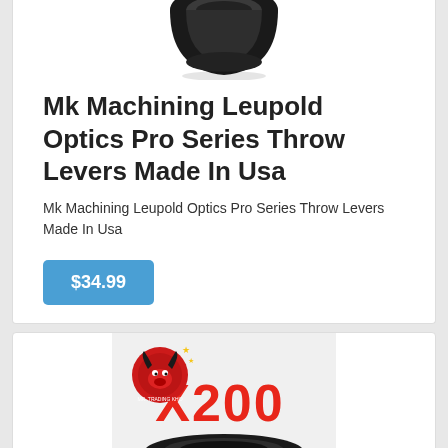[Figure (photo): Black optical lens throw lever ring viewed from front, partially cropped at top]
Mk Machining Leupold Optics Pro Series Throw Levers Made In Usa
Mk Machining Leupold Optics Pro Series Throw Levers Made In Usa
$34.99
[Figure (photo): Product listing image showing a black rubber o-ring or lens adapter ring with a red X200 logo and a small red bull mascot logo in the upper left corner]